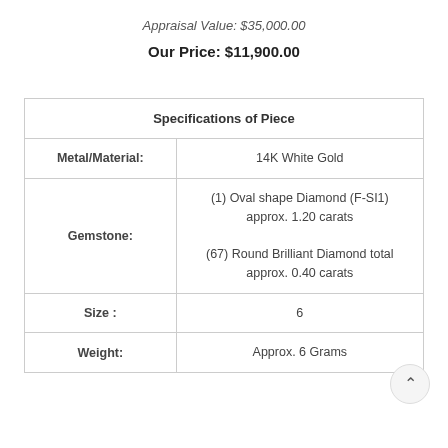Appraisal Value: $35,000.00
Our Price: $11,900.00
| Specifications of Piece |
| --- |
| Metal/Material: | 14K White Gold |
| Gemstone: | (1) Oval shape Diamond (F-SI1) approx. 1.20 carats
(67) Round Brilliant Diamond total approx. 0.40 carats |
| Size : | 6 |
| Weight: | Approx. 6 Grams |